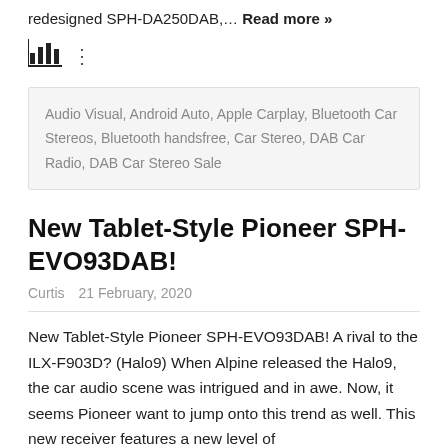redesigned SPH-DA250DAB,… Read more »
[Figure (other): Bar chart icon followed by vertical three-dots menu icon]
Audio Visual, Android Auto, Apple Carplay, Bluetooth Car Stereos, Bluetooth handsfree, Car Stereo, DAB Car Radio, DAB Car Stereo Sale
New Tablet-Style Pioneer SPH-EVO93DAB!
Curtis   21 February, 2020
New Tablet-Style Pioneer SPH-EVO93DAB! A rival to the ILX-F903D? (Halo9) When Alpine released the Halo9, the car audio scene was intrigued and in awe. Now, it seems Pioneer want to jump onto this trend as well. This new receiver features a new level of